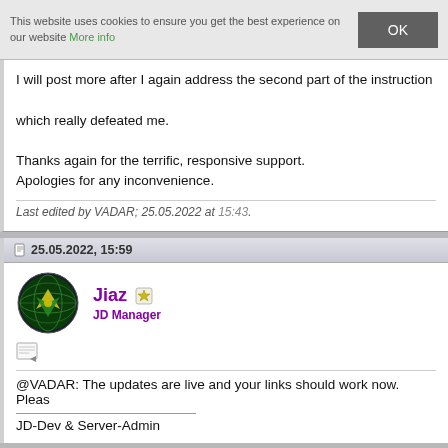This website uses cookies to ensure you get the best experience on our website More info
I will post more after I again address the second part of the instruction which really defeated me.

Thanks again for the terrific, responsive support.
Apologies for any inconvenience.
Last edited by VADAR; 25.05.2022 at 15:43.
25.05.2022, 15:59
Jiaz JD Manager
@VADAR: The updates are live and your links should work now. Please
JD-Dev & Server-Admin
25.05.2022, 16:00